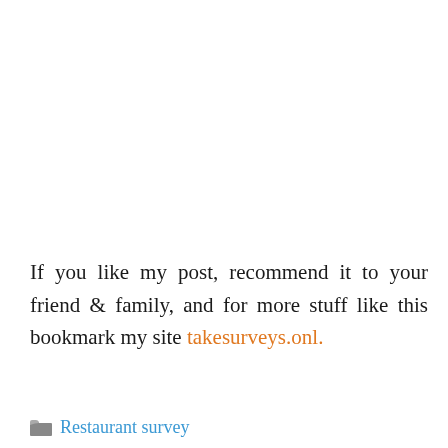If you like my post, recommend it to your friend & family, and for more stuff like this bookmark my site takesurveys.onl.
Restaurant survey